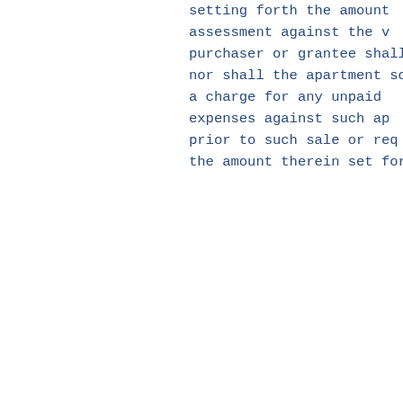setting forth the amount assessment against the v purchaser or grantee shall nor shall the apartment so a charge for any unpaid expenses against such ap prior to such sale or req the amount therein set fort
21. The Manager or Board required by the Declaratio or by a majority of the a or at the request of a mo first mortgage covering an have the authority to, insurance for the property damage by fire, and suc under such terms and for shall be required, or